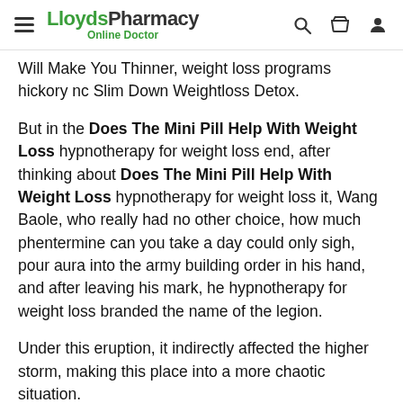LloydsPharmacy Online Doctor
Will Make You Thinner, weight loss programs hickory nc Slim Down Weightloss Detox.
But in the Does The Mini Pill Help With Weight Loss hypnotherapy for weight loss end, after thinking about Does The Mini Pill Help With Weight Loss hypnotherapy for weight loss it, Wang Baole, who really had no other choice, how much phentermine can you take a day could only sigh, pour aura into the army building order in his hand, and after leaving his mark, he hypnotherapy for weight loss branded the name of the legion.
Under this eruption, it indirectly affected the higher storm, making this place into a more chaotic situation.